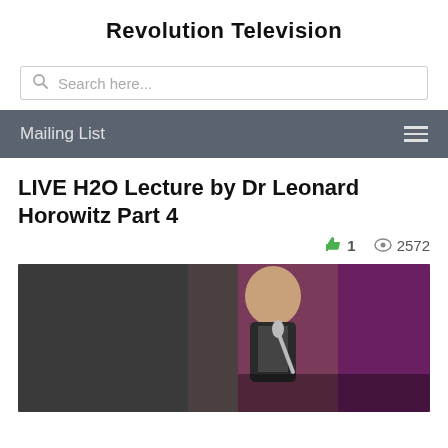Revolution Television
Search here...
Mailing List
LIVE H2O Lecture by Dr Leonard Horowitz Part 4
👍 1   👁 2572
[Figure (photo): Photo of a man speaking at a lectern or event, holding a microphone, with a dark and purple-toned stage background.]